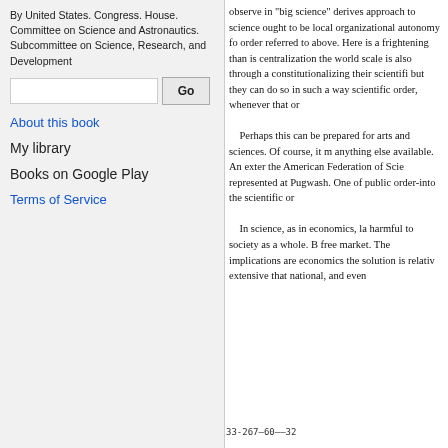By United States. Congress. House. Committee on Science and Astronautics. Subcommittee on Science, Research, and Development
[Search box] Go
About this book
My library
Books on Google Play
Terms of Service
observe in "big science" derives approach to science ought to be local organizational autonomy fo order referred to above. Here is a frightening than is centralization the world scale is also through a constitutionalizing their scientifi but they can do so in such a way scientific order, whenever that or

Perhaps this can be prepared for arts and sciences. Of course, it m anything else available. An exter the American Federation of Scie represented at Pugwash. One of public order-into the scientific or

    In science, as in economics, la harmful to society as a whole. B free market. The implications are economics the solution is relativ extensive that national, and even
33-267—60——32